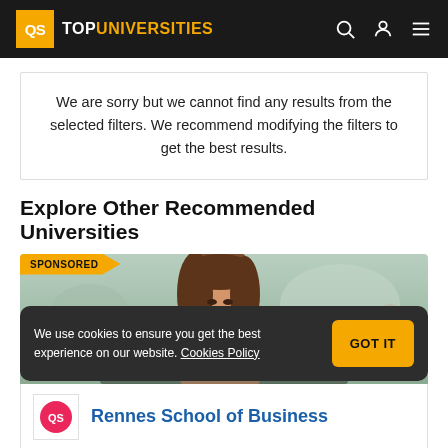QS TOPUNIVERSITIES
We are sorry but we cannot find any results from the selected filters. We recommend modifying the filters to get the best results.
Explore Other Recommended Universities
[Figure (photo): Sponsored university card showing a young woman with brown hair holding something blue, with 'IT WAS AWESOME' text partially visible at the bottom. A 'SPONSORED' badge is in the top left.]
We use cookies to ensure you get the best experience on our website. Cookies Policy
Rennes School of Business